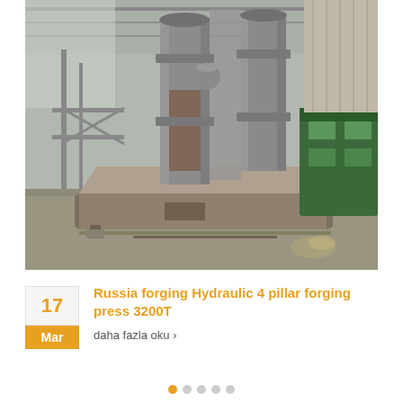[Figure (photo): Industrial photograph of a large hydraulic 4-pillar forging press (3200T) in a factory setting. The press has massive cylindrical columns and a large base block. A green machine is visible to the right. The factory interior has metal scaffolding and high roof.]
17
Mar
Russia forging Hydraulic 4 pillar forging press 3200T
daha fazla oku ›